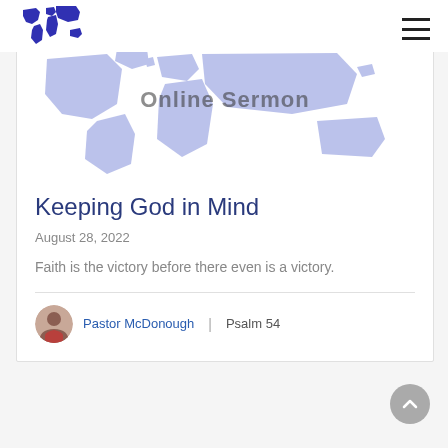[Figure (logo): Dark blue world map logo in top left corner]
[Figure (illustration): World map banner image with light purple/periwinkle continents and partial text 'Online Sermon' overlaid]
Keeping God in Mind
August 28, 2022
Faith is the victory before there even is a victory.
Pastor McDonough  |  Psalm 54